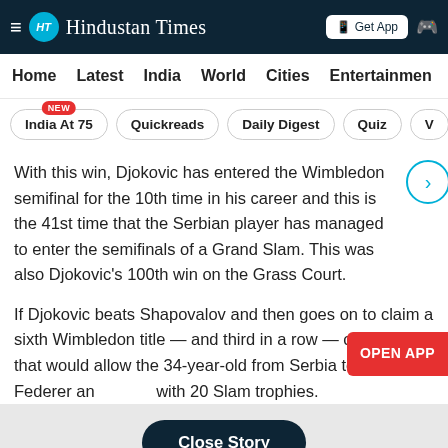Hindustan Times
Home  Latest  India  World  Cities  Entertainment
India At 75 (NEW)  Quickreads  Daily Digest  Quiz  V
With this win, Djokovic has entered the Wimbledon semifinal for the 10th time in his career and this is the 41st time that the Serbian player has managed to enter the semifinals of a Grand Slam. This was also Djokovic's 100th win on the Grass Court.
If Djokovic beats Shapovalov and then goes on to claim a sixth Wimbledon title — and third in a row — on Sunday, that would allow the 34-year-old from Serbia to tie Federer and with 20 Slam trophies.
Close Story